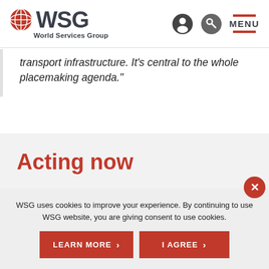WSG World Services Group
transport infrastructure. It’s central to the whole placemaking agenda.”
Acting now
WSG uses cookies to improve your experience. By continuing to use WSG website, you are giving consent to use cookies.
LEARN MORE
I AGREE